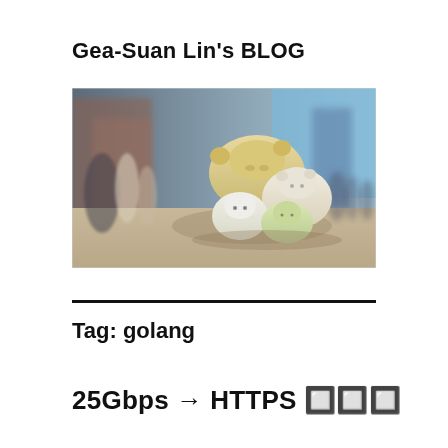Gea-Suan Lin's BLOG
[Figure (photo): Outdoor photo featuring large plush toy figures (Sumikko Gurashi characters) arranged on a street, with blurred people and buildings in the background on a sunny day.]
Tag: golang
25Gbps → HTTPS 加速